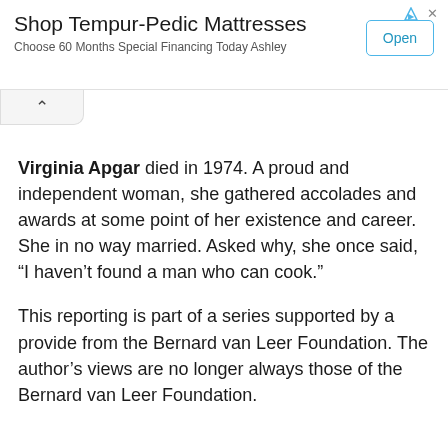[Figure (screenshot): Advertisement banner for Shop Tempur-Pedic Mattresses with 'Open' button]
Virginia Apgar died in 1974. A proud and independent woman, she gathered accolades and awards at some point of her existence and career. She in no way married. Asked why, she once said, “I haven’t found a man who can cook.”
This reporting is part of a series supported by a provide from the Bernard van Leer Foundation. The author’s views are no longer always those of the Bernard van Leer Foundation.